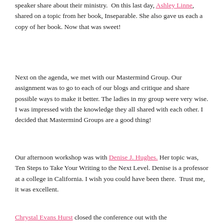speaker share about their ministry.  On this last day, Ashley Linne, shared on a topic from her book, Inseparable. She also gave us each a copy of her book. Now that was sweet!
Next on the agenda, we met with our Mastermind Group. Our assignment was to go to each of our blogs and critique and share possible ways to make it better. The ladies in my group were very wise. I was impressed with the knowledge they all shared with each other. I decided that Mastermind Groups are a good thing!
Our afternoon workshop was with Denise J. Hughes. Her topic was, Ten Steps to Take Your Writing to the Next Level. Denise is a professor at a college in California. I wish you could have been there.  Trust me, it was excellent.
Chrystal Evans Hurst closed the conference out with the